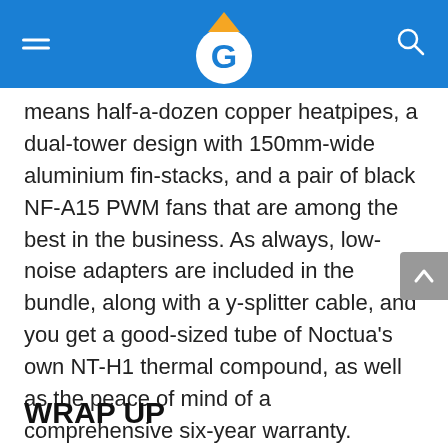Navigation header with logo
means half-a-dozen copper heatpipes, a dual-tower design with 150mm-wide aluminium fin-stacks, and a pair of black NF-A15 PWM fans that are among the best in the business. As always, low-noise adapters are included in the bundle, along with a y-splitter cable, and you get a good-sized tube of Noctua's own NT-H1 thermal compound, as well as the peace of mind of a comprehensive six-year warranty.
WRAP UP